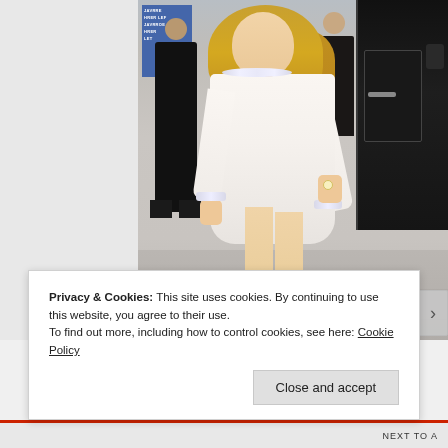[Figure (photo): A blonde woman in a white jeweled dress standing on a sidewalk. In the background are people in dark clothing, a blue sign on the left, and a black car on the right.]
Privacy & Cookies: This site uses cookies. By continuing to use this website, you agree to their use.
To find out more, including how to control cookies, see here: Cookie Policy
Close and accept